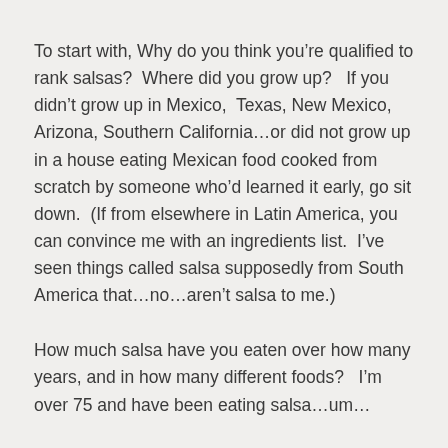To start with, Why do you think you’re qualified to rank salsas?  Where did you grow up?   If you didn’t grow up in Mexico,  Texas, New Mexico, Arizona, Southern California…or did not grow up in a house eating Mexican food cooked from scratch by someone who’d learned it early, go sit down.  (If from elsewhere in Latin America, you can convince me with an ingredients list.  I’ve seen things called salsa supposedly from South America that…no…aren’t salsa to me.)
How much salsa have you eaten over how many years, and in how many different foods?   I’m over 75 and have been eating salsa…um…